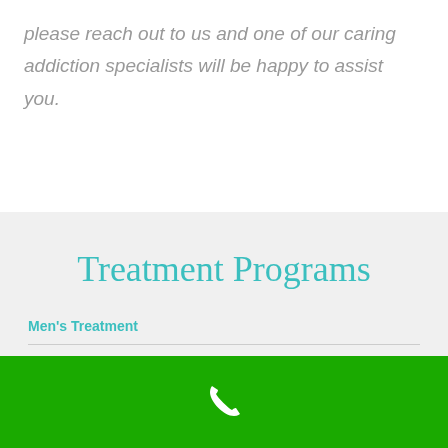please reach out to us and one of our caring addiction specialists will be happy to assist you.
Treatment Programs
Men's Treatment
Women's Treatment
[Figure (other): Green bar at bottom with white phone handset icon]